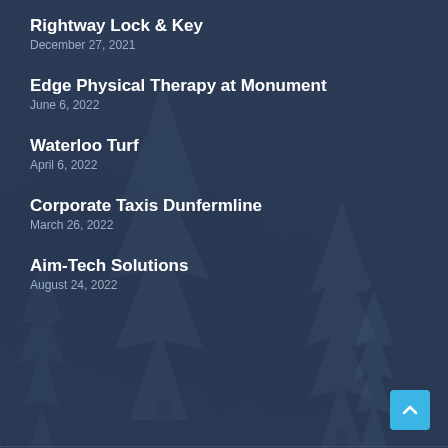Rightway Lock & Key
December 27, 2021
Edge Physical Therapy at Monument
June 6, 2022
Waterloo Turf
April 6, 2022
Corporate Taxis Dunfermline
March 26, 2022
Aim-Tech Solutions
August 24, 2022